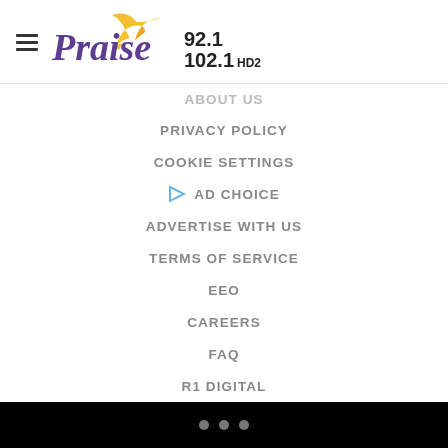Praise 92.1 / 102.1 HD2
ABOUT US
PRIVACY POLICY
COOKIE SETTINGS
AD CHOICE
ADVERTISE WITH US
TERMS OF SERVICE
EEO
CAREERS
FAQ
R1 DIGITAL
KROI FCC APPLICATIONS
• • •